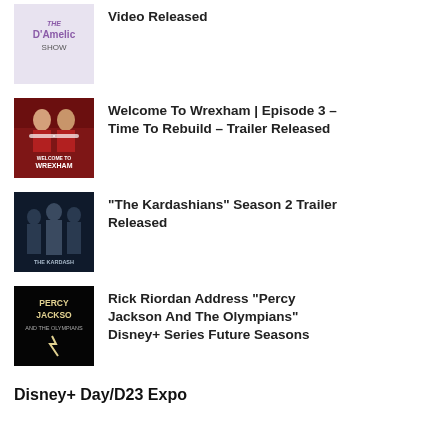Video Released (D'Amelio Show)
Welcome To Wrexham | Episode 3 – Time To Rebuild – Trailer Released
"The Kardashians" Season 2 Trailer Released
Rick Riordan Address "Percy Jackson And The Olympians" Disney+ Series Future Seasons
Disney+ Day/D23 Expo